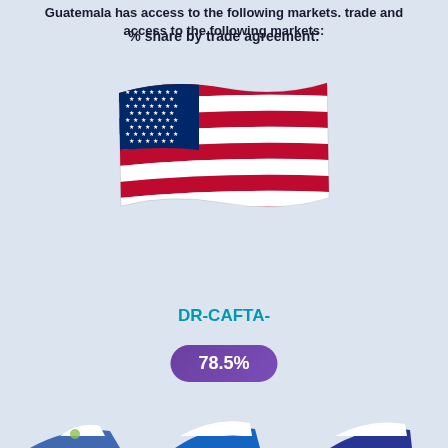Guatemala has access to the following markets. trade and access to the following markets:
% share by trade agreement:
[Figure (illustration): US flag (waving emoji-style flag of the United States of America)]
DR-CAFTA-
78.5%
[Figure (illustration): Three partially visible country flags at the bottom of the page (Guatemala, Honduras/El Salvador, and another Central American flag)]